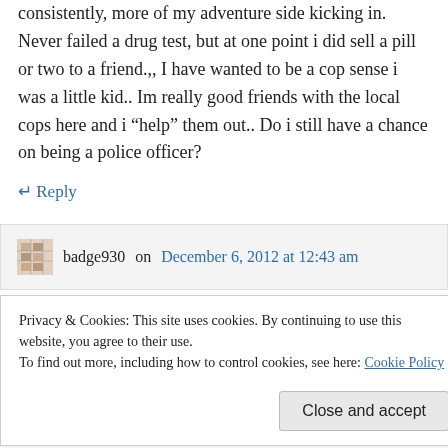consistently, more of my adventure side kicking in. Never failed a drug test, but at one point i did sell a pill or two to a friend.,, I have wanted to be a cop sense i was a little kid.. Im really good friends with the local cops here and i “help” them out.. Do i still have a chance on being a police officer?
↵ Reply
badge930 on December 6, 2012 at 12:43 am
Privacy & Cookies: This site uses cookies. By continuing to use this website, you agree to their use.
To find out more, including how to control cookies, see here: Cookie Policy
Close and accept
minor